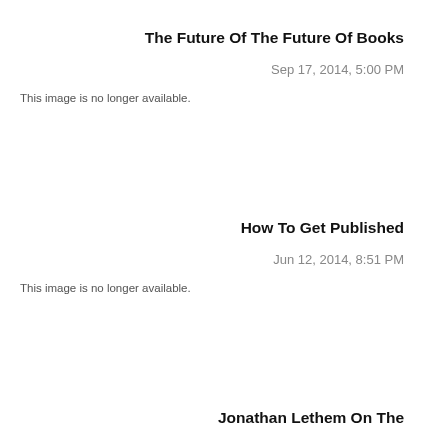The Future Of The Future Of Books
Sep 17, 2014, 5:00 PM
This image is no longer available.
How To Get Published
Jun 12, 2014, 8:51 PM
This image is no longer available.
Jonathan Lethem On The